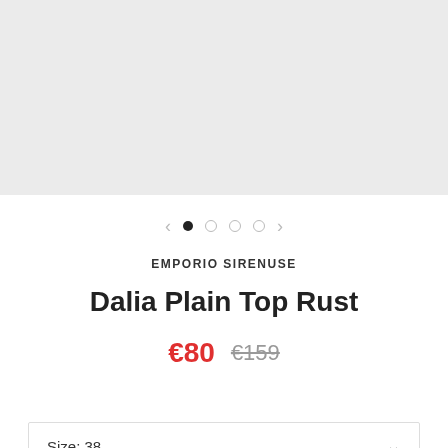[Figure (photo): Product image placeholder — light gray background, no visible product (image not loaded)]
< • ○ ○ ○ > (carousel navigation with 4 dots, first dot active)
EMPORIO SIRENUSE
Dalia Plain Top Rust
€80  €159 (sale price €80, original price €159 struck through)
Size: 38